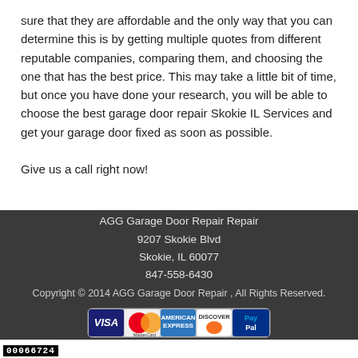sure that they are affordable and the only way that you can determine this is by getting multiple quotes from different reputable companies, comparing them, and choosing the one that has the best price. This may take a little bit of time, but once you have done your research, you will be able to choose the best garage door repair Skokie IL Services and get your garage door fixed as soon as possible.
Give us a call right now!
AGG Garage Door Repair Repair
9207 Skokie Blvd
Skokie, IL 60077
847-558-6430
Copyright © 2014 AGG Garage Door Repair , All Rights Reserved.
[Figure (other): Payment method icons: Visa, MasterCard, American Express, Discover, PayPal]
00066724